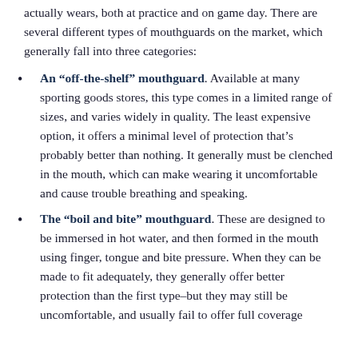actually wears, both at practice and on game day. There are several different types of mouthguards on the market, which generally fall into three categories:
An "off-the-shelf" mouthguard. Available at many sporting goods stores, this type comes in a limited range of sizes, and varies widely in quality. The least expensive option, it offers a minimal level of protection that's probably better than nothing. It generally must be clenched in the mouth, which can make wearing it uncomfortable and cause trouble breathing and speaking.
The "boil and bite" mouthguard. These are designed to be immersed in hot water, and then formed in the mouth using finger, tongue and bite pressure. When they can be made to fit adequately, they generally offer better protection than the first type–but they may still be uncomfortable, and usually fail to offer full coverage of the teeth.